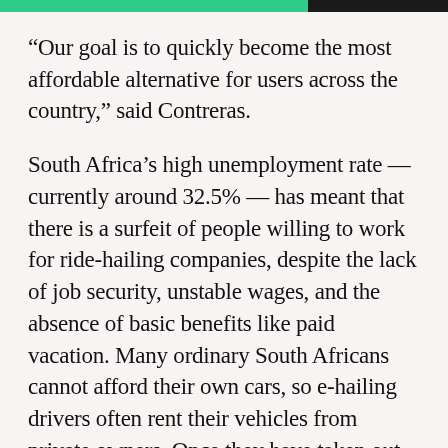“Our goal is to quickly become the most affordable alternative for users across the country,” said Contreras.
South Africa’s high unemployment rate — currently around 32.5% — has meant that there is a surfeit of people willing to work for ride-hailing companies, despite the lack of job security, unstable wages, and the absence of basic benefits like paid vacation. Many ordinary South Africans cannot afford their own cars, so e-hailing drivers often rent their vehicles from private owners. Once they have taken out rental fees, fuel costs, platform